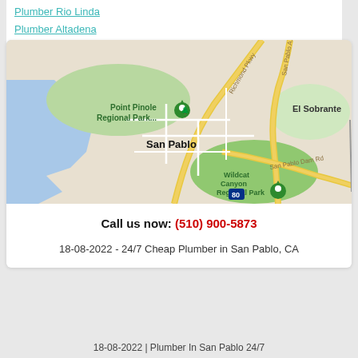Plumber Rio Linda
Plumber Altadena
[Figure (map): Google Maps screenshot showing San Pablo, CA area with Point Pinole Regional Park, El Sobrante, Wildcat Canyon Regional Park, Richmond Pkwy, San Pablo Ave, San Pablo Dam Rd labeled. Green location pin on Point Pinole Regional Park.]
Call us now: (510) 900-5873
18-08-2022 - 24/7 Cheap Plumber in San Pablo, CA
18-08-2022 | Plumber In San Pablo 24/7